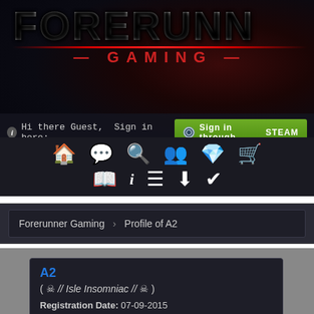[Figure (logo): Forerunner Gaming logo with large white bold text 'FORERUNN' visible, red horizontal line accent, and red 'GAMING' text below, on dark space-themed background]
Hi there Guest, Sign in here: Sign in through STEAM
[Figure (screenshot): Navigation bar with icons: home, chat, search, people, diamond, cart (top row); map, info, menu, download, checkmark (bottom row)]
Forerunner Gaming > Profile of A2
A2
( ☠ // Isle Insomniac // ☠ )
Registration Date: 07-09-2015